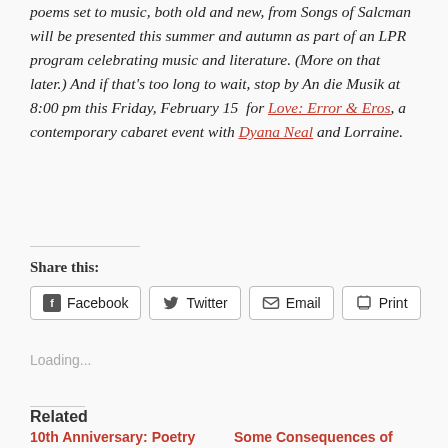poems set to music, both old and new, from Songs of Salcman will be presented this summer and autumn as part of an LPR program celebrating music and literature. (More on that later.) And if that's too long to wait, stop by An die Musik at 8:00 pm this Friday, February 15 for Love: Error & Eros, a contemporary cabaret event with Dyana Neal and Lorraine.
Share this:
[Figure (other): Share buttons: Facebook, Twitter, Email, Print]
Loading...
Related
10th Anniversary: Poetry and music songs of
Some Consequences of Submitting